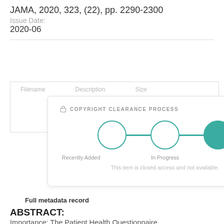JAMA, 2020, 323, (22), pp. 2290-2300
Issue Date:
2020-06
[Figure (infographic): Copyright Clearance Process diagram showing three steps: Recently Added (empty circle), In Progress (empty circle), and Closed Access (filled teal circle), connected by teal lines. Text below reads: This item is closed access and not available.]
Full metadata record
ABSTRACT:
Importance: The Patient Health Questionnaire depression module (PHQ-9) is a 9-item self